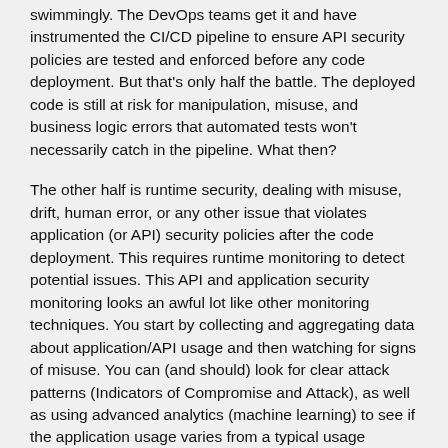swimmingly. The DevOps teams get it and have instrumented the CI/CD pipeline to ensure API security policies are tested and enforced before any code deployment. But that's only half the battle. The deployed code is still at risk for manipulation, misuse, and business logic errors that automated tests won't necessarily catch in the pipeline. What then?
The other half is runtime security, dealing with misuse, drift, human error, or any other issue that violates application (or API) security policies after the code deployment. This requires runtime monitoring to detect potential issues. This API and application security monitoring looks an awful lot like other monitoring techniques. You start by collecting and aggregating data about application/API usage and then watching for signs of misuse. You can (and should) look for clear attack patterns (Indicators of Compromise and Attack), as well as using advanced analytics (machine learning) to see if the application usage varies from a typical usage baseline, potentially indicating malicious intent.
So what happens upon discovering a security issue? Who is responsible for fixing it? Is it Ops? Does the